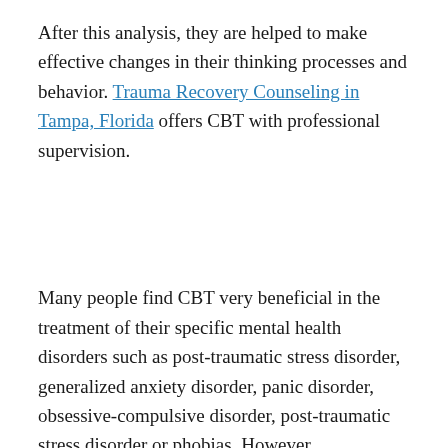After this analysis, they are helped to make effective changes in their thinking processes and behavior. Trauma Recovery Counseling in Tampa, Florida offers CBT with professional supervision.
Many people find CBT very beneficial in the treatment of their specific mental health disorders such as post-traumatic stress disorder, generalized anxiety disorder, panic disorder, obsessive-compulsive disorder, post-traumatic stress disorder or phobias. However,